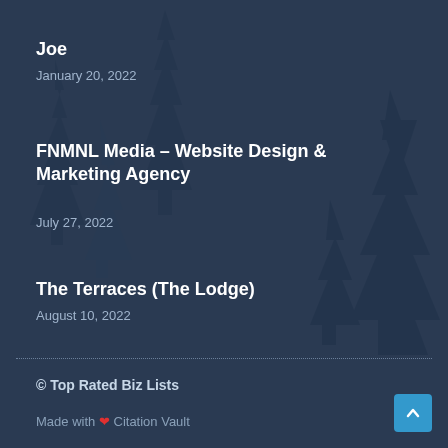Joe
January 20, 2022
FNMNL Media – Website Design & Marketing Agency
July 27, 2022
The Terraces (The Lodge)
August 10, 2022
© Top Rated Biz Lists
Made with ❤ Citation Vault